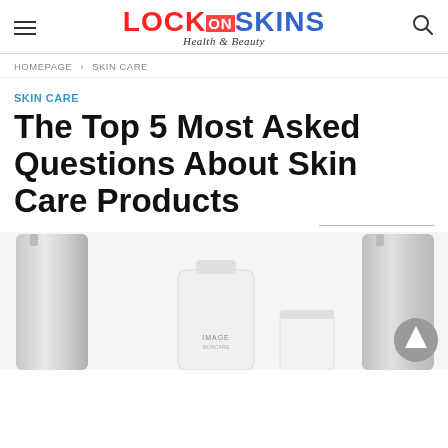LOCK ON SKINS — Health & Beauty
HOMEPAGE › SKIN CARE
SKIN CARE
The Top 5 Most Asked Questions About Skin Care Products
[Figure (photo): Skin care product bottles and tubes including IMAGE Skincare products arranged on a white background]